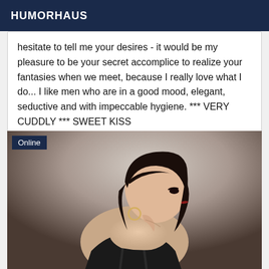HUMORHAUS
hesitate to tell me your desires - it would be my pleasure to be your secret accomplice to realize your fantasies when we meet, because I really love what I do... I like men who are in a good mood, elegant, seductive and with impeccable hygiene. *** VERY CUDDLY *** SWEET KISS
[Figure (photo): Portrait photo of a young woman with dark hair, wearing a black dress, shown from behind/side profile, with hoop earrings and red lipstick. Has an 'Online' badge overlay in the top left corner.]